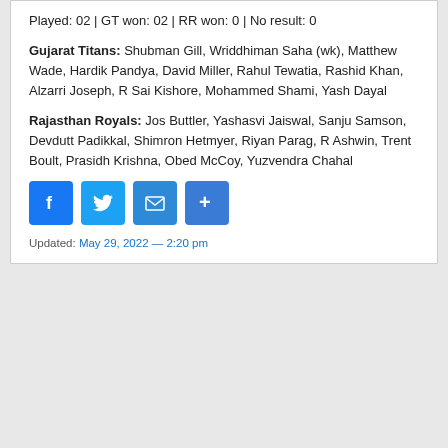Played: 02 | GT won: 02 | RR won: 0 | No result: 0
Gujarat Titans: Shubman Gill, Wriddhiman Saha (wk), Matthew Wade, Hardik Pandya, David Miller, Rahul Tewatia, Rashid Khan, Alzarri Joseph, R Sai Kishore, Mohammed Shami, Yash Dayal
Rajasthan Royals: Jos Buttler, Yashasvi Jaiswal, Sanju Samson, Devdutt Padikkal, Shimron Hetmyer, Riyan Parag, R Ashwin, Trent Boult, Prasidh Krishna, Obed McCoy, Yuzvendra Chahal
[Figure (other): Social share buttons: Facebook, Twitter, Email, Share/More]
Updated: May 29, 2022 — 2:20 pm